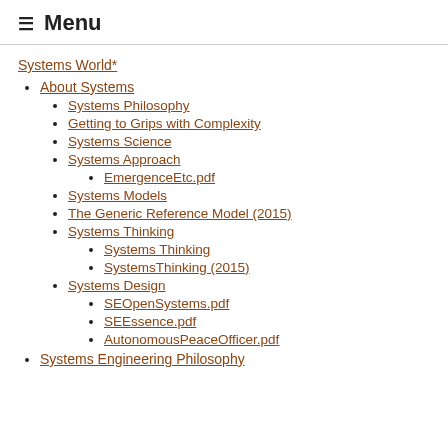☰ Menu
Systems World*
About Systems
Systems Philosophy
Getting to Grips with Complexity
Systems Science
Systems Approach
EmergenceEtc.pdf
Systems Models
The Generic Reference Model (2015)
Systems Thinking
Systems Thinking
SystemsThinking (2015)
Systems Design
SEOpenSystems.pdf
SEEssence.pdf
AutonomousPeaceOfficer.pdf
Systems Engineering Philosophy